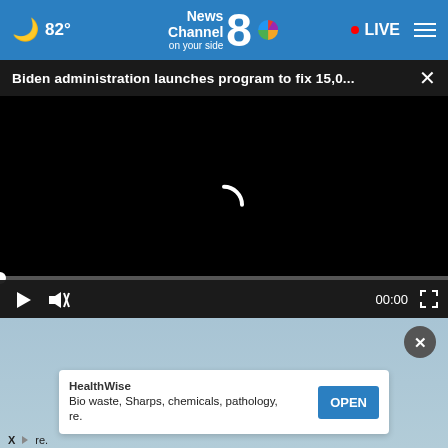☁ 82° — News Channel 8 on your side — LIVE
Biden administration launches program to fix 15,0...
[Figure (screenshot): Black video player area with loading spinner and video controls showing 00:00 timestamp, play button, mute button, and fullscreen button]
[Figure (screenshot): Advertisement section with light blue background, close button (x), HealthWise ad card showing 'Bio waste, Sharps, chemicals, pathology, ..re.' with OPEN button, and X/Twitter ad attribution at bottom left]